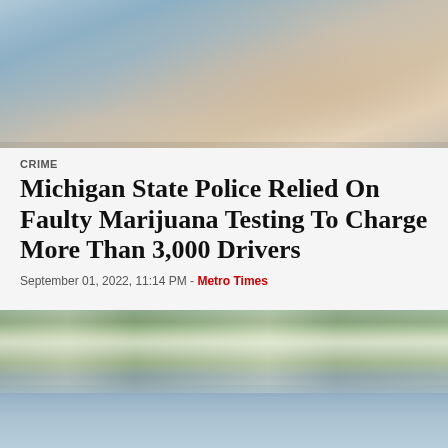[Figure (photo): Close-up photo of hands, possibly holding something, with blurred blue and beige tones in the background]
CRIME
Michigan State Police Relied On Faulty Marijuana Testing To Charge More Than 3,000 Drivers
September 01, 2022, 11:14 PM - Metro Times
[Figure (photo): Waterfront scene showing buildings and houses along a shoreline with a body of water in the foreground]